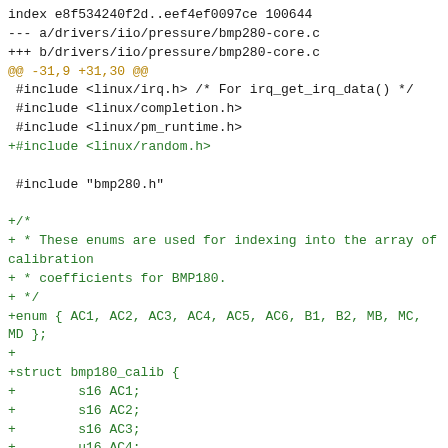index e8f534240f2d..eef4ef0097ce 100644
--- a/drivers/iio/pressure/bmp280-core.c
+++ b/drivers/iio/pressure/bmp280-core.c
@@ -31,9 +31,30 @@
 #include <linux/irq.h> /* For irq_get_irq_data() */
 #include <linux/completion.h>
 #include <linux/pm_runtime.h>
+#include <linux/random.h>

 #include "bmp280.h"

+/*
+ * These enums are used for indexing into the array of calibration
+ * coefficients for BMP180.
+ * */
+enum { AC1, AC2, AC3, AC4, AC5, AC6, B1, B2, MB, MC, MD };
+
+struct bmp180_calib {
+        s16 AC1;
+        s16 AC2;
+        s16 AC3;
+        u16 AC4;
+        u16 AC5;
+        u16 AC6;
+        s16 B1;
+        s16 B2;
+        s16 MB;
+        s16 MC;